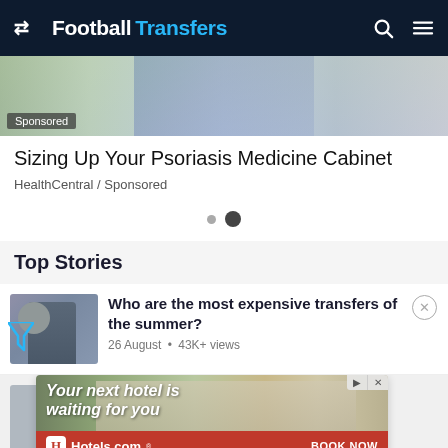FootballTransfers
[Figure (photo): Sponsored image showing a person in jeans, partially cropped, with 'Sponsored' label overlay]
Sizing Up Your Psoriasis Medicine Cabinet
HealthCentral / Sponsored
[Figure (other): Carousel dots indicator — two dots, one small grey and one larger dark]
Top Stories
Who are the most expensive transfers of the summer?
26 August • 43K+ views
[Figure (photo): Hotel advertisement banner: 'Your next hotel is waiting for you' with Hotels.com logo and 'BOOK NOW' call to action, showing hotel building photo]